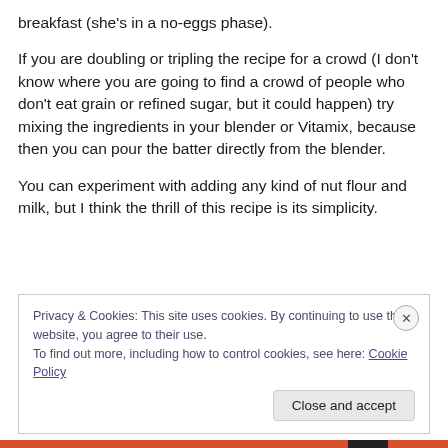breakfast (she's in a no-eggs phase).
If you are doubling or tripling the recipe for a crowd (I don't know where you are going to find a crowd of people who don't eat grain or refined sugar, but it could happen) try mixing the ingredients in your blender or Vitamix, because then you can pour the batter directly from the blender.
You can experiment with adding any kind of nut flour and milk, but I think the thrill of this recipe is its simplicity.
Privacy & Cookies: This site uses cookies. By continuing to use this website, you agree to their use.
To find out more, including how to control cookies, see here: Cookie Policy